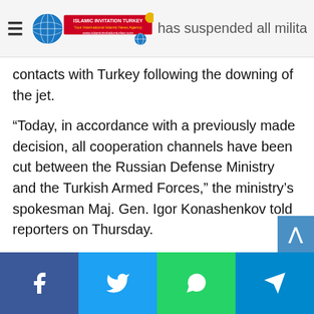Islamic Invitation Turkey — [logo] — ...has suspended all military contacts with Turkey following the downing of the jet.
contacts with Turkey following the downing of the jet.
“Today, in accordance with a previously made decision, all cooperation channels have been cut between the Russian Defense Ministry and the Turkish Armed Forces,” the ministry’s spokesman Maj. Gen. Igor Konashenkov told reporters on Thursday.
Russian Prime Minister Dmitry Medvedev has, meanwhile, ordered his government to draw up retaliatory economic measures against Turkey, calling on his ministers to create plans that would include freezing some joint investment projects, restricting financial and trade transactions, changing customs duties and restrictions on food imports from Turkey
Facebook | Twitter | WhatsApp | Telegram